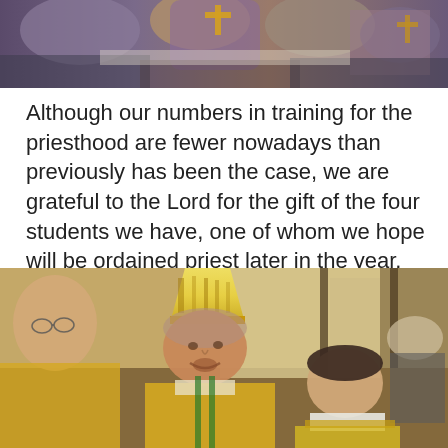[Figure (photo): Top portion of a photo showing people in religious vestments, partially cropped at the top of the page]
Although our numbers in training for the priesthood are fewer nowadays than previously has been the case, we are grateful to the Lord for the gift of the four students we have, one of whom we hope will be ordained priest later in the year.
[Figure (photo): A bishop wearing a gold mitre and vestments appears to be speaking with a younger man in liturgical robes, inside a church setting. An older man with glasses is visible on the left.]